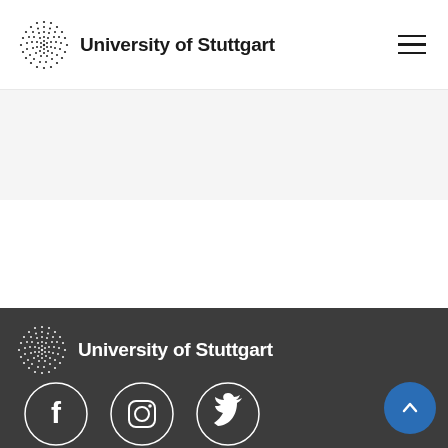University of Stuttgart
[Figure (logo): University of Stuttgart logo with dot-pattern globe and text, repeated in header and footer]
University of Stuttgart footer with Facebook, Instagram, Twitter social icons and back-to-top button